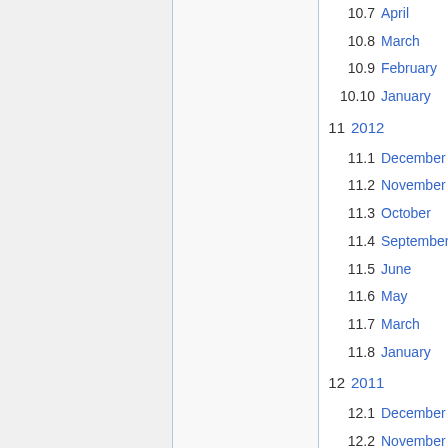10.7 April
10.8 March
10.9 February
10.10 January
11 2012
11.1 December
11.2 November
11.3 October
11.4 September
11.5 June
11.6 May
11.7 March
11.8 January
12 2011
12.1 December
12.2 November
12.3 October